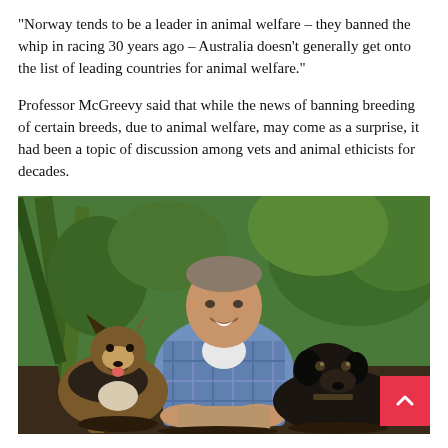“Norway tends to be a leader in animal welfare – they banned the whip in racing 30 years ago – Australia doesn’t generally get onto the list of leading countries for animal welfare.”
Professor McGreevy said that while the news of banning breeding of certain breeds, due to animal welfare, may come as a surprise, it had been a topic of discussion among vets and animal ethicists for decades.
[Figure (photo): A smiling man in a blue plaid shirt sits outdoors surrounded by green foliage, with a German Shepherd-type dog on his left and a black Labrador on his right. A red 'back to top' button with a white upward chevron is overlaid in the bottom-right corner.]